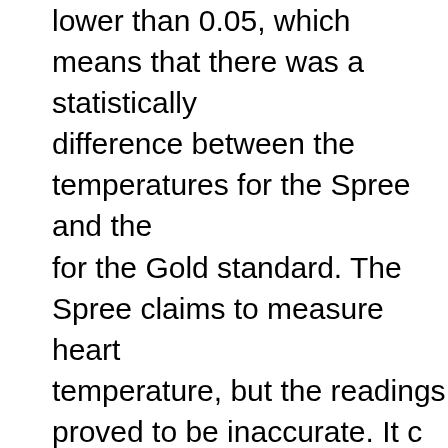lower than 0.05, which means that there was a statistically significant difference between the temperatures for the Spree and the readings for the Gold standard. The Spree claims to measure heart temperature, but the readings proved to be inaccurate. It does allow for a general idea of these measures, however. The three system that correlated with body temperature was a component not completely necessary. Although it is very compatible with smart phone technology, the bluetooth connection of the s the device was difficult to connect at first and unreliable th testing period. The device required constant movement, o signal would be lost. From time to time, the app on the sm would show that the heart rate had 0 readings despite the in constant movement.
Possible improvements include utilizing a number system temperature and heart rate readings instead of a color sys way that the device recognizes the user is at rest as well a the connection of the device to bluetooth would be signific